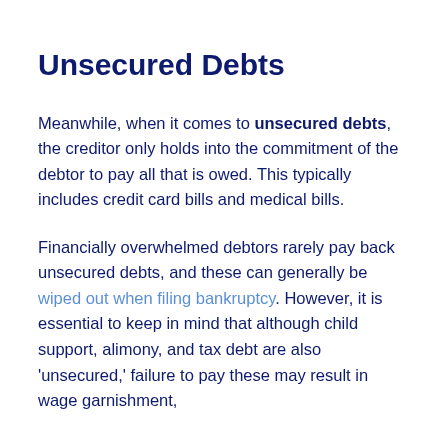Unsecured Debts
Meanwhile, when it comes to unsecured debts, the creditor only holds into the commitment of the debtor to pay all that is owed. This typically includes credit card bills and medical bills.
Financially overwhelmed debtors rarely pay back unsecured debts, and these can generally be wiped out when filing bankruptcy. However, it is essential to keep in mind that although child support, alimony, and tax debt are also ‘unsecured,’ failure to pay these may result in wage garnishment,